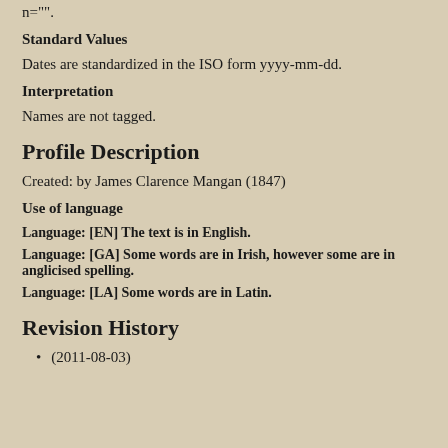n="".
Standard Values
Dates are standardized in the ISO form yyyy-mm-dd.
Interpretation
Names are not tagged.
Profile Description
Created: by James Clarence Mangan (1847)
Use of language
Language: [EN] The text is in English.
Language: [GA] Some words are in Irish, however some are in anglicised spelling.
Language: [LA] Some words are in Latin.
Revision History
(2011-08-03)